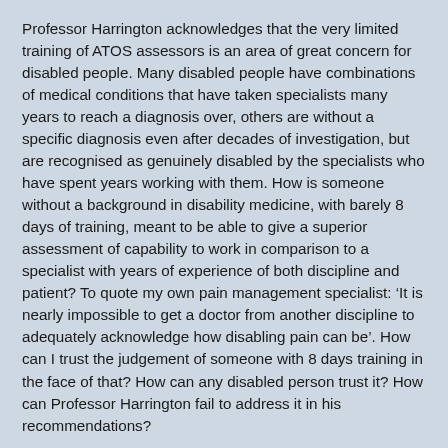Professor Harrington acknowledges that the very limited training of ATOS assessors is an area of great concern for disabled people. Many disabled people have combinations of medical conditions that have taken specialists many years to reach a diagnosis over, others are without a specific diagnosis even after decades of investigation, but are recognised as genuinely disabled by the specialists who have spent years working with them. How is someone without a background in disability medicine, with barely 8 days of training, meant to be able to give a superior assessment of capability to work in comparison to a specialist with years of experience of both discipline and patient? To quote my own pain management specialist: ‘It is nearly impossible to get a doctor from another discipline to adequately acknowledge how disabling pain can be’. How can I trust the judgement of someone with 8 days training in the face of that? How can any disabled person trust it? How can Professor Harrington fail to address it in his recommendations?
Chapter 6: The Decision Making Process.